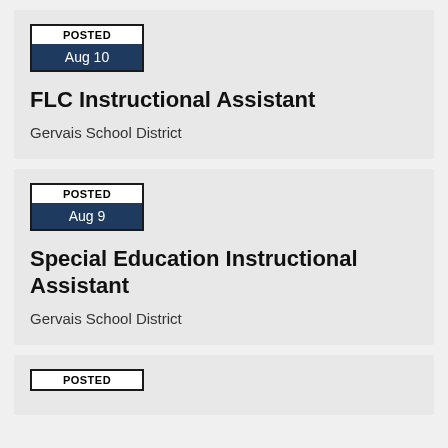POSTED Aug 10
FLC Instructional Assistant
Gervais School District
POSTED Aug 9
Special Education Instructional Assistant
Gervais School District
POSTED